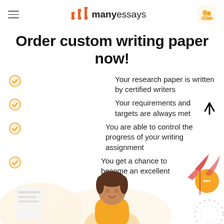manyessays
Order custom writing paper now!
Your research paper is written by certified writers
Your requirements and targets are always met
You are able to control the progress of your writing assignment
You get a chance to become an excellent student!
[Figure (illustration): Illustration of a student sitting with papers and a decorative plant leaf, on a light orange background]